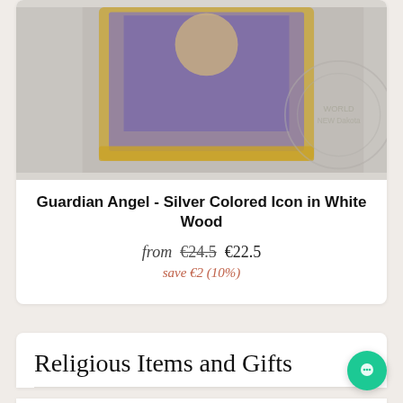[Figure (photo): Product photo of Guardian Angel Silver Colored Icon in White Wood, framed religious icon with gold border, partially cropped at top]
Guardian Angel - Silver Colored Icon in White Wood
from €24.5 €22.5
save €2 (10%)
Religious Items and Gifts
Censer Athinaiko with Little Enamel   Virgin Vladimir   Anteri Black Colour
Candle Stands For Holy Table - 1562M   Large Double Sided Wooden Prosphora Seal
Brass Cross For Flags   Byzantine Engraved Tray 14in
Medium Double Sided Wooden Prosphora Seal   Holy
Threaded Holders Book Wooden Mounted Ecclesiastical